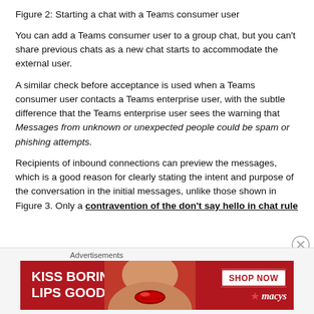Figure 2: Starting a chat with a Teams consumer user
You can add a Teams consumer user to a group chat, but you can’t share previous chats as a new chat starts to accommodate the external user.
A similar check before acceptance is used when a Teams consumer user contacts a Teams enterprise user, with the subtle difference that the Teams enterprise user sees the warning that Messages from unknown or unexpected people could be spam or phishing attempts.
Recipients of inbound connections can preview the messages, which is a good reason for clearly stating the intent and purpose of the conversation in the initial messages, unlike those shown in Figure 3. Only a contravention of the don’t say hello in chat rule
Advertisements
[Figure (photo): Advertisement banner: KISS BORING LIPS GOODBYE with a lipstick photo and SHOP NOW / macy's branding]